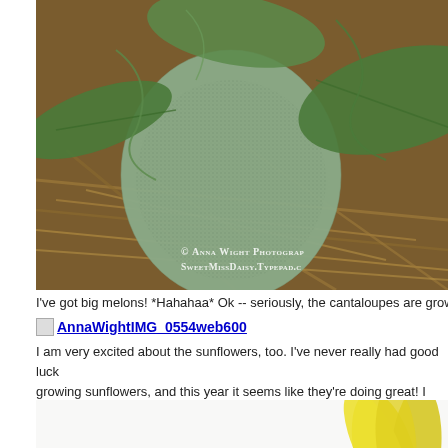[Figure (photo): Close-up photograph of a cantaloupe melon surrounded by green leaves and dried straw/hay. Watermark reads: © Anna Wight Photography SweetMissDaisy.Typepad.com]
I've got big melons! *Hahahaa* Ok -- seriously, the cantaloupes are growing
AnnaWightIMG_0554web600
I am very excited about the sunflowers, too. I've never really had good luck growing sunflowers, and this year it seems like they're doing great! I love the cheery spots of color they add.
[Figure (photo): Close-up photograph of a yellow sunflower bud beginning to open, with green leaves in the background against a white/light background.]